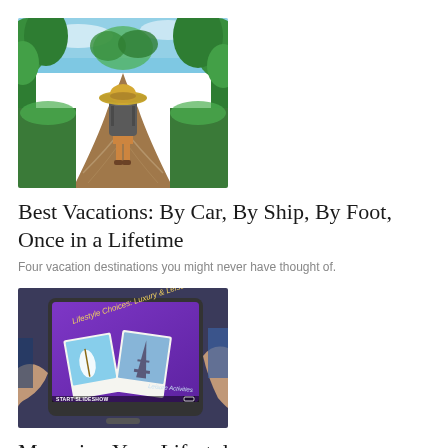[Figure (photo): A traveler seen from behind, wearing a large straw hat and backpack, walking along a tropical path with lush green vegetation and reflective water.]
Best Vacations: By Car, By Ship, By Foot, Once in a Lifetime
Four vacation destinations you might never have thought of.
[Figure (photo): A person holding a tablet with a purple screen showing a presentation titled 'Lifestyle Choices: Luxury & Leisure' with polaroid-style images of a sailboat and the Eiffel Tower. The bottom of the screen shows 'START SLIDESHOW' and a slideshow icon.]
Managing Your Lifestyle